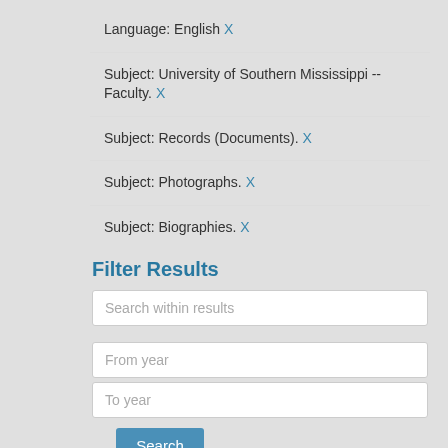Language: English X
Subject: University of Southern Mississippi -- Faculty. X
Subject: Records (Documents). X
Subject: Photographs. X
Subject: Biographies. X
Filter Results
Search within results
From year
To year
Search